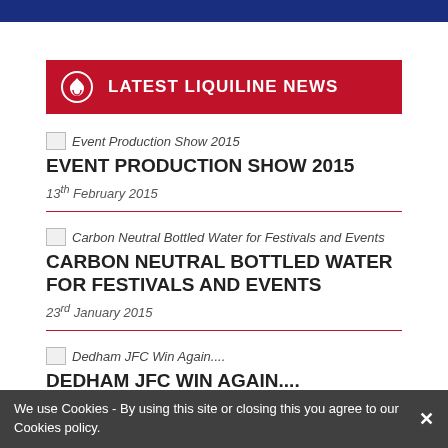LATEST LIQUILINE NEWS
[Figure (other): Broken image thumbnail for Event Production Show 2015]
EVENT PRODUCTION SHOW 2015
13th February 2015
[Figure (other): Broken image thumbnail for Carbon Neutral Bottled Water for Festivals and Events]
CARBON NEUTRAL BOTTLED WATER FOR FESTIVALS AND EVENTS
23rd January 2015
[Figure (other): Broken image thumbnail for Dedham JFC Win Again....]
DEDHAM JFC WIN AGAIN....
We use Cookies - By using this site or closing this you agree to our Cookies policy.